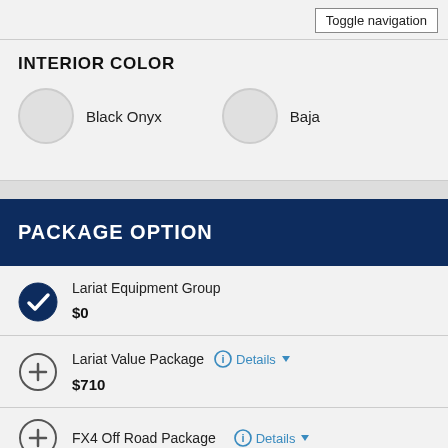Toggle navigation
INTERIOR COLOR
Black Onyx
Baja
PACKAGE OPTION
Lariat Equipment Group
$0
Lariat Value Package  Details
$710
FX4 Off Road Package  Details